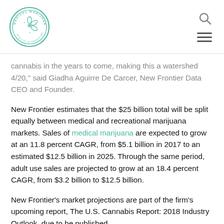Medical Marijuana Inc. logo and navigation icons
cannabis in the years to come, making this a watershed 4/20," said Giadha Aguirre De Carcer, New Frontier Data CEO and Founder.
New Frontier estimates that the $25 billion total will be split equally between medical and recreational marijuana markets. Sales of medical marijuana are expected to grow at an 11.8 percent CAGR, from $5.1 billion in 2017 to an estimated $12.5 billion in 2025. Through the same period, adult use sales are projected to grow at an 18.4 percent CAGR, from $3.2 billion to $12.5 billion.
New Frontier’s market projections are part of the firm’s upcoming report, The U.S. Cannabis Report: 2018 Industry Outlook, due to be published